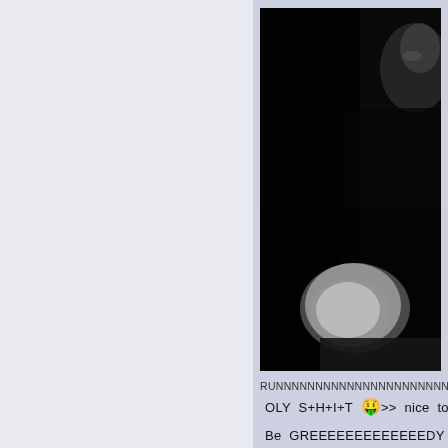[Figure (photo): Black and white close-up photograph of a person's face looking upward, with dramatic lighting showing bright spot in lower portion]
RUNNNNNNNNNNNNNNNNNNNNNNNNNNNNNN...
OLY S+H+I+T 🤑>> nice to Durian P
Be GREEEEEEEEEEEEEDY 👉💲 whil